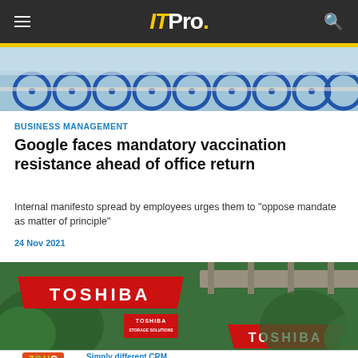IT Pro.
[Figure (photo): Photo of bicycles parked in a row, likely a bike-sharing station, with blue frames visible]
BUSINESS MANAGEMENT
Google faces mandatory vaccination resistance ahead of office return
Internal manifesto spread by employees urges them to "oppose mandate as matter of principle"
24 Nov 2021
[Figure (photo): Photo of red Toshiba branded signs/billboards outdoors with trees and a bridge structure in background]
[Figure (other): Advertisement banner for Zoho CRM for Enterprise - Simply different CRM, Our software is modular & easy to customize]